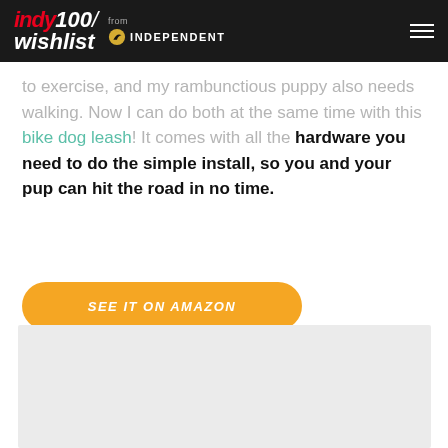indy100/ wishlist from INDEPENDENT
to exercise, and my rambunctious puppy also needs walking. Now I can do both at the same time with this bike dog leash! It comes with all the hardware you need to do the simple install, so you and your pup can hit the road in no time.
SEE IT ON AMAZON
[Figure (photo): Light gray image placeholder area at bottom of page]